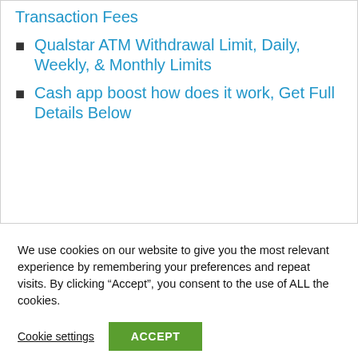Transaction Fees
Qualstar ATM Withdrawal Limit, Daily, Weekly, & Monthly Limits
Cash app boost how does it work, Get Full Details Below
We use cookies on our website to give you the most relevant experience by remembering your preferences and repeat visits. By clicking “Accept”, you consent to the use of ALL the cookies.
Cookie settings
ACCEPT